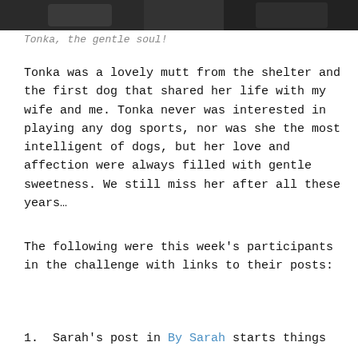[Figure (photo): Top strip of a photograph showing a dog named Tonka, partially cropped]
Tonka, the gentle soul!
Tonka was a lovely mutt from the shelter and the first dog that shared her life with my wife and me. Tonka never was interested in playing any dog sports, nor was she the most intelligent of dogs, but her love and affection were always filled with gentle sweetness. We still miss her after all these years…
The following were this week's participants in the challenge with links to their posts:
1. Sarah's post in By Sarah starts things